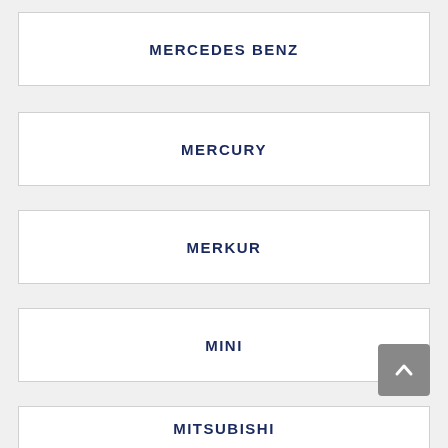MERCEDES BENZ
MERCURY
MERKUR
MINI
MITSUBISHI